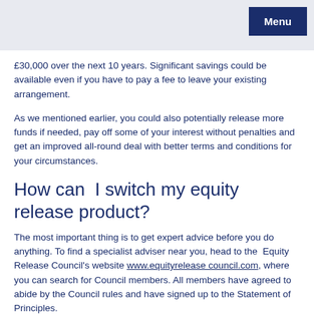Menu
£30,000 over the next 10 years. Significant savings could be available even if you have to pay a fee to leave your existing arrangement.
As we mentioned earlier, you could also potentially release more funds if needed, pay off some of your interest without penalties and get an improved all-round deal with better terms and conditions for your circumstances.
How can I switch my equity release product?
The most important thing is to get expert advice before you do anything. To find a specialist adviser near you, head to the Equity Release Council's website www.equityreleasecouncil.com, where you can search for Council members. All members have agreed to abide by the Council rules and have signed up to the Statement of Principles.